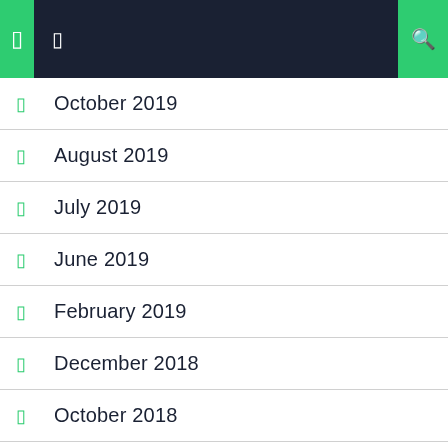Navigation header with icons
October 2019
August 2019
July 2019
June 2019
February 2019
December 2018
October 2018
September 2018
June 2018
November 2018